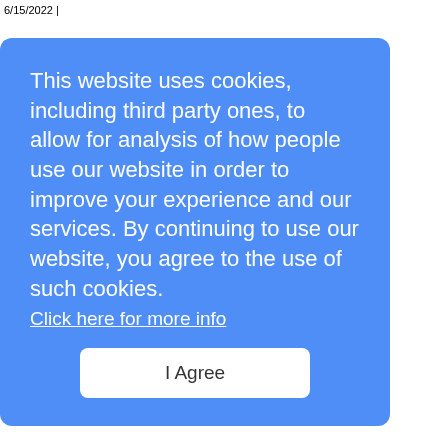6/15/2022 |
Comments · Post · RSS
comments
This website uses cookies, including third party ones, to allow for analysis of how people use our website in order to improve your experience and our services. By continuing to use our website, you agree to the use of such cookies.
Click here for more info
I Agree